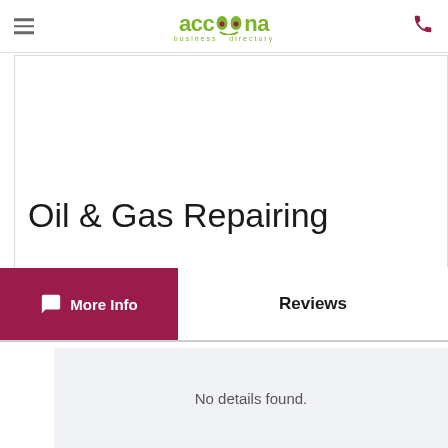accoona business directory
Tweet
Oil & Gas Repairing
More Info
Reviews
No details found.